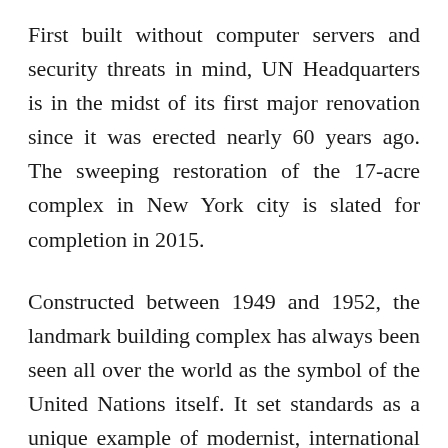First built without computer servers and security threats in mind, UN Headquarters is in the midst of its first major renovation since it was erected nearly 60 years ago. The sweeping restoration of the 17-acre complex in New York city is slated for completion in 2015.
Constructed between 1949 and 1952, the landmark building complex has always been seen all over the world as the symbol of the United Nations itself. It set standards as a unique example of modernist, international style architecture since it was erected along the East River shortly after World War – II.